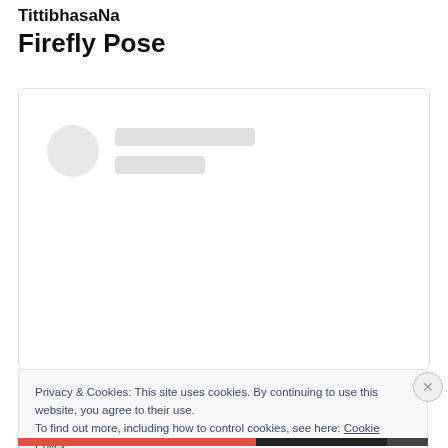TittibhasaNa
Firefly Pose
[Figure (other): Loading placeholder card with a grey circle and two grey rectangle bars, inside a bordered rounded card]
Privacy & Cookies: This site uses cookies. By continuing to use this website, you agree to their use.
To find out more, including how to control cookies, see here: Cookie Policy
Close and accept